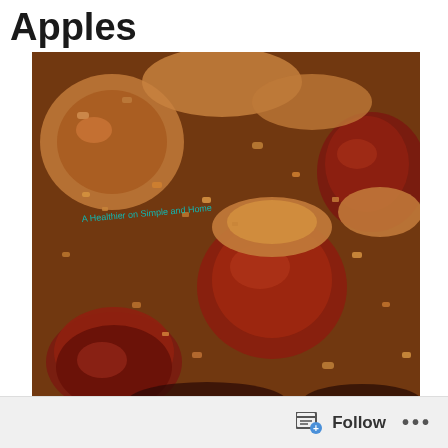Apples
[Figure (photo): Close-up photo of baked apples covered with a crumbled oat and nut topping, with a small watermark text reading 'A Healthier on Simple and Home']
Follow ...